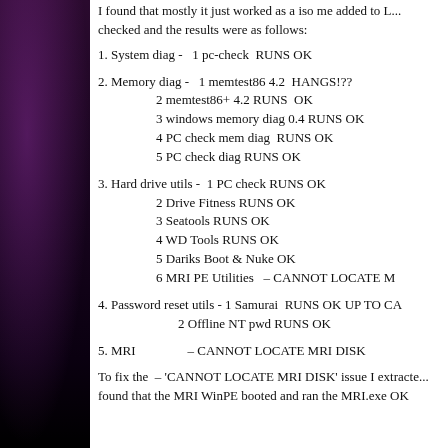I found that mostly it just worked as a iso me added to L... checked and the results were as follows:
1. System diag -   1 pc-check  RUNS OK
2. Memory diag -   1 memtest86 4.2  HANGS!??
2 memtest86+ 4.2 RUNS  OK
3 windows memory diag 0.4 RUNS OK
4 PC check mem diag  RUNS OK
5 PC check diag RUNS OK
3. Hard drive utils -  1 PC check RUNS OK
2 Drive Fitness RUNS OK
3 Seatools RUNS OK
4 WD Tools RUNS OK
5 Dariks Boot & Nuke OK
6 MRI PE Utilities   - CANNOT LOCATE M
4. Password reset utils - 1 Samurai  RUNS OK UP TO CA
2 Offline NT pwd RUNS OK
5. MRI                - CANNOT LOCATE MRI DISK
To fix the - 'CANNOT LOCATE MRI DISK' issue I extracte... found that the MRI WinPE booted and ran the MRI.exe OK